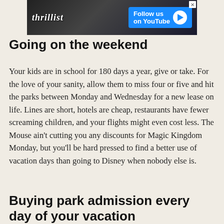[Figure (screenshot): Thrillist YouTube follow us advertisement banner with logo and play button]
Going on the weekend
Your kids are in school for 180 days a year, give or take. For the love of your sanity, allow them to miss four or five and hit the parks between Monday and Wednesday for a new lease on life. Lines are short, hotels are cheap, restaurants have fewer screaming children, and your flights might even cost less. The Mouse ain't cutting you any discounts for Magic Kingdom Monday, but you'll be hard pressed to find a better use of vacation days than going to Disney when nobody else is.
Buying park admission every day of your vacation